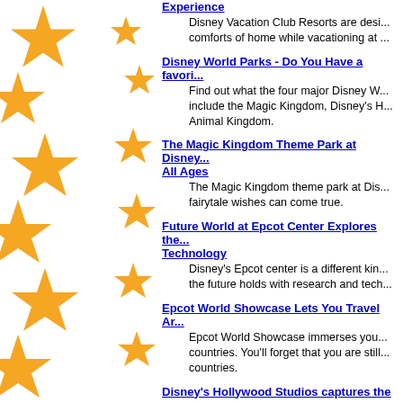[Figure (illustration): Decorative gold/orange stars arranged in two diagonal columns on the left side of the page]
Experience - Disney Vacation Club Resorts are designed to give you the comforts of home while vacationing at ...
Disney World Parks - Do You Have a favori... - Find out what the four major Disney W... include the Magic Kingdom, Disney's H... Animal Kingdom.
The Magic Kingdom Theme Park at Disney... All Ages - The Magic Kingdom theme park at Dis... fairytale wishes can come true.
Future World at Epcot Center Explores the... Technology - Disney's Epcot center is a different kin... the future holds with research and tech...
Epcot World Showcase Lets You Travel Ar... - Epcot World Showcase immerses you... countries. You'll forget that you are still... countries.
Disney's Hollywood Studios captures the g... - Disney's Hollywood Studios has plenty...